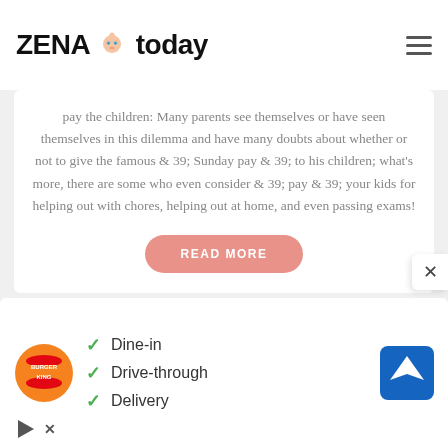ZENA today
pay the children: Many parents see themselves or have seen themselves in this dilemma and have many doubts about whether or not to give the famous & 39; Sunday pay & 39; to his children; what's more, there are some who even consider & 39; pay & 39; your kids for helping out with chores, helping out at home, and even passing exams!
READ MORE
[Figure (screenshot): Burger King advertisement showing checkmarks next to Dine-in, Drive-through, and Delivery options, with a navigation/directions icon on the right and the Burger King logo on the left.]